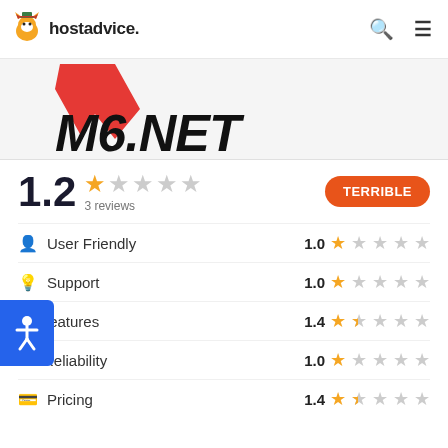hostadvice.
[Figure (logo): M6.NET logo with red checkmark/V shape above bold black M6.NET text]
1.2 ★☆☆☆☆ 3 reviews — TERRIBLE
| Category | Score | Stars |
| --- | --- | --- |
| User Friendly | 1.0 | ★☆☆☆☆ |
| Support | 1.0 | ★☆☆☆☆ |
| Features | 1.4 | ★½☆☆☆ |
| Reliability | 1.0 | ★☆☆☆☆ |
| Pricing | 1.4 | ★½☆☆☆ |